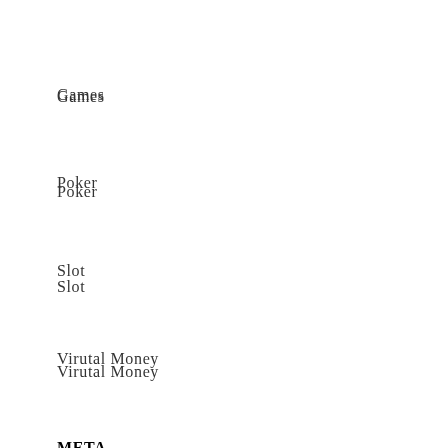Games
Poker
Slot
Virutal Money
META
Log in
Entries feed